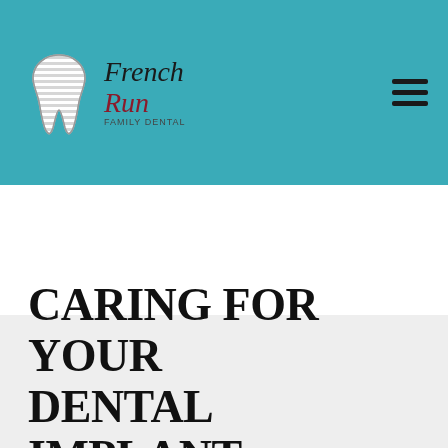French Run Family Dental
[Figure (logo): French Run Family Dental logo with stylized tooth icon and text]
CARING FOR YOUR DENTAL IMPLANT